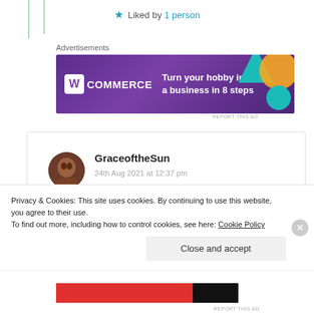★ Liked by 1 person
Advertisements
[Figure (illustration): WooCommerce advertisement banner: purple background with teal triangle and orange circle shapes, WooCommerce logo on left, text 'Turn your hobby into a business in 8 steps' on right]
REPORT THIS AD
GraceoftheSun
24th Aug 2021 at 12:37 pm

Wonderful piece, Suma. I truly loved every line.
The image you chose was excellent as well.
Privacy & Cookies: This site uses cookies. By continuing to use this website, you agree to their use.
To find out more, including how to control cookies, see here: Cookie Policy
Close and accept
REPORT THIS AD